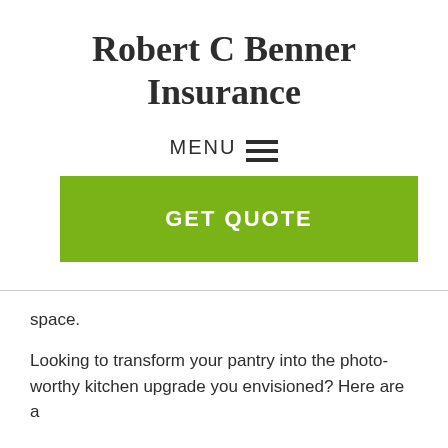Robert C Benner Insurance
MENU ☰
[Figure (other): Green GET QUOTE button/banner]
space.
Looking to transform your pantry into the photo-worthy kitchen upgrade you envisioned? Here are a